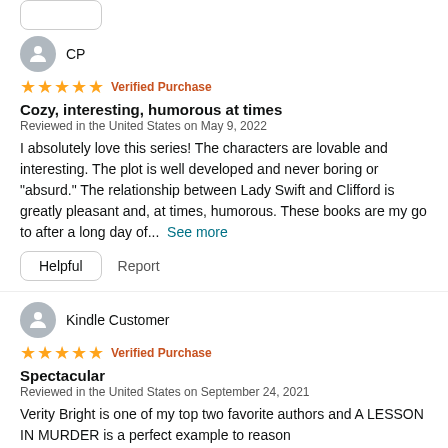[Figure (other): Rounded rectangle box at top of page (partial UI element)]
[Figure (other): User avatar icon for reviewer CP]
CP
[Figure (other): 5-star rating with Verified Purchase label for CP review]
Cozy, interesting, humorous at times
Reviewed in the United States on May 9, 2022
I absolutely love this series! The characters are lovable and interesting. The plot is well developed and never boring or “absurd.” The relationship between Lady Swift and Clifford is greatly pleasant and, at times, humorous. These books are my go to after a long day of...  See more
Helpful   Report
[Figure (other): User avatar icon for Kindle Customer reviewer]
Kindle Customer
[Figure (other): 5-star rating with Verified Purchase label for Kindle Customer review]
Spectacular
Reviewed in the United States on September 24, 2021
Verity Bright is one of my top two favorite authors and A LESSON IN MURDER is a perfect example to reason